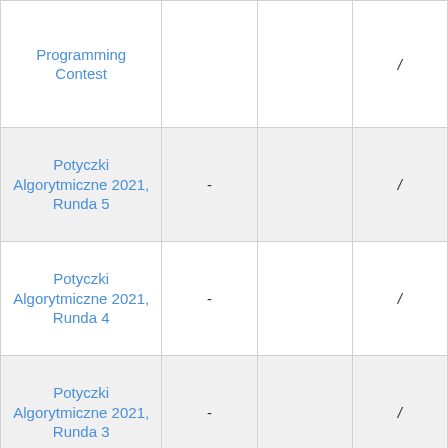| Contest |  |  |  |
| --- | --- | --- | --- |
| Programming Contest |  |  | / |
| Potyczki Algorytmiczne 2021, Runda 5 | - |  | / |
| Potyczki Algorytmiczne 2021, Runda 4 | - |  | / |
| Potyczki Algorytmiczne 2021, Runda 3 | - |  | / |
| Potyczki Algorytmiczne 2021, Runda 2 | - |  | / |
| Potyczki Algorytmiczne 2021, | - |  | / |